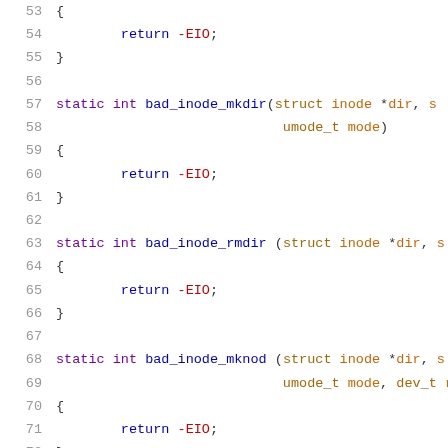Source code listing lines 53-74, C kernel code with functions bad_inode_mkdir, bad_inode_rmdir, bad_inode_mknod